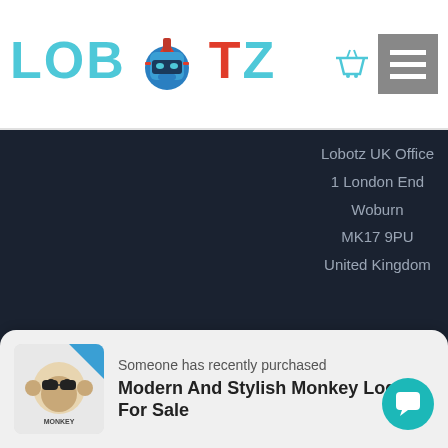[Figure (logo): Lobotz logo with robot helmet in center, 'LOB' and 'TZ' in teal, 'O' replaced by robot helmet illustration]
[Figure (illustration): Shopping basket icon in teal and hamburger menu icon in gray on the right side of header]
Lobotz UK Office
1 London End
Woburn
MK17 9PU
United Kingdom
[Figure (illustration): Social media icons: YouTube, Twitter, Pinterest in dark teal on dark background]
[Figure (illustration): Teal rocket icon in bottom right of dark section]
Someone has recently purchased
[Figure (illustration): Monkey logo product thumbnail with blue corner badge]
Modern And Stylish Monkey Logo For Sale
[Figure (illustration): Teal circular chat/comment button in bottom right corner]